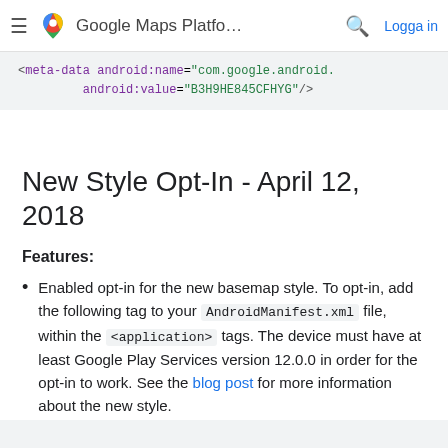Google Maps Platfo... Logga in
<meta-data android:name="com.google.android.... android:value="B3H9HE845CFHYG"/>
New Style Opt-In - April 12, 2018
Features:
Enabled opt-in for the new basemap style. To opt-in, add the following tag to your AndroidManifest.xml file, within the <application> tags. The device must have at least Google Play Services version 12.0.0 in order for the opt-in to work. See the blog post for more information about the new style.